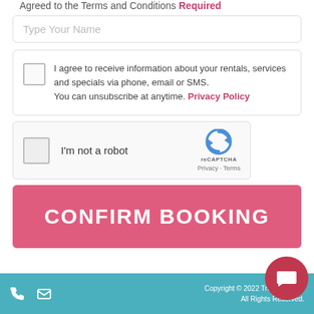Agreed to the Terms and Conditions Required
Type Your Name
I agree to receive information about your rentals, services and specials via phone, email or SMS. You can unsubscribe at anytime. Privacy Policy
[Figure (screenshot): reCAPTCHA widget with checkbox and logo, labeled I'm not a robot, with Privacy - Terms links]
CONFIRM BOOKING
Copyright © 2022 Treasure City. All Rights Reserved.